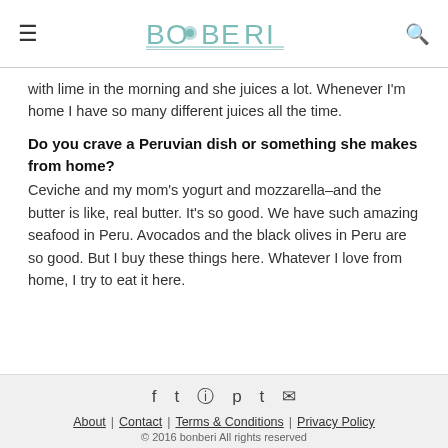BONBERI — A curated guide to food and well-being.
with lime in the morning and she juices a lot. Whenever I'm home I have so many different juices all the time.
Do you crave a Peruvian dish or something she makes from home?
Ceviche and my mom's yogurt and mozzarella–and the butter is like, real butter. It's so good. We have such amazing seafood in Peru. Avocados and the black olives in Peru are so good. But I buy these things here. Whatever I love from home, I try to eat it here.
About | Contact | Terms & Conditions | Privacy Policy
© 2016 bonberi All rights reserved